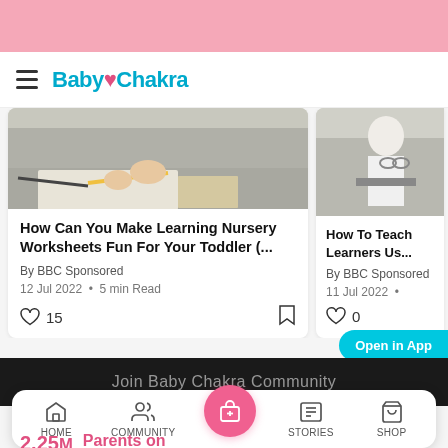[Figure (screenshot): Pink top banner of BabyChakra mobile app]
≡ BabyChakra
How Can You Make Learning Nursery Worksheets Fun For Your Toddler (...
By BBC Sponsored
12 Jul 2022 • 5 min Read
♡ 15
How To Teach Learners Us...
By BBC Sponsored
11 Jul 2022 •
♡ 0
Open in App
HOME  COMMUNITY  [gift icon]  STORIES  SHOP
2.25M  Parents on